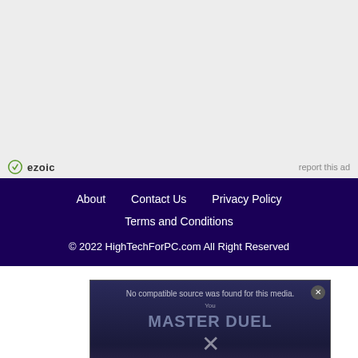[Figure (other): Gray advertisement placeholder area with ezoic branding and 'report this ad' link at bottom]
About   Contact Us   Privacy Policy
Terms and Conditions
© 2022 HighTechForPC.com All Right Reserved
[Figure (screenshot): Video overlay popup showing 'No compatible source was found for this media.' error message over a dark background with 'MASTER DUEL' text, X close button, and 'DOWNLOAD & INSTALL GUIDE' text at the bottom in green]